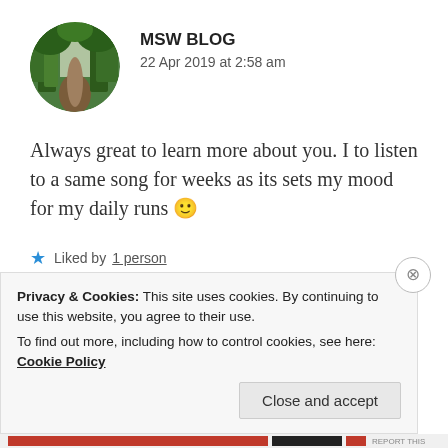[Figure (photo): Circular avatar photo of a tree-lined path with green foliage, used as a blog author profile picture.]
MSW BLOG
22 Apr 2019 at 2:58 am
Always great to learn more about you. I to listen to a same song for weeks as its sets my mood for my daily runs 🙂
★ Liked by 1 person
REPLY
Privacy & Cookies: This site uses cookies. By continuing to use this website, you agree to their use. To find out more, including how to control cookies, see here: Cookie Policy
Close and accept